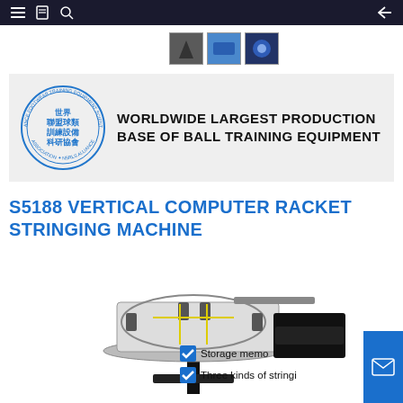Navigation bar with menu, book, search icons and back arrow
[Figure (photo): Three product thumbnail images in a row]
[Figure (logo): Company logo banner with circular seal showing Chinese text and 'WORLDWIDE LARGEST PRODUCTION BASE OF BALL TRAINING EQUIPMENT']
S5188 VERTICAL COMPUTER RACKET STRINGING MACHINE
[Figure (photo): S5188 vertical computer racket stringing machine product photo]
Storage memo
Three kinds of stringi